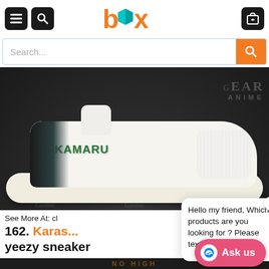[Figure (screenshot): Mobile e-commerce website header with hamburger menu, search icon, BOX logo in orange, and shopping cart icon on dark buttons]
[Figure (screenshot): Search bar with placeholder text 'Search...' and orange search button]
[Figure (photo): White Yeezy-style sneaker with anime character Shikamaru and text 'HIKAMARU' printed on side, displayed against dark background with GearAnime watermarks]
See More At: cl
162. Karas... yeezy sneaker
Hello my friend, Which products are you looking for ? Please text us.Thank you !
[Figure (screenshot): Bottom partial image showing dark background with orange text (product listing below)]
Ask us